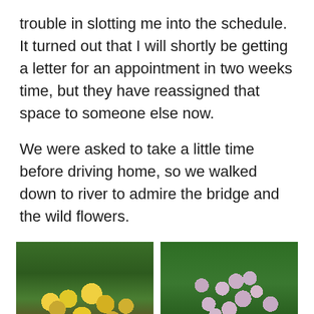trouble in slotting me into the schedule. It turned out that I will shortly be getting a letter for an appointment in two weeks time, but they have reassigned that space to someone else now.
We were asked to take a little time before driving home, so we walked down to river to admire the bridge and the wild flowers.
[Figure (photo): Photo of yellow dandelion wildflowers growing in green grass and ground cover]
[Figure (photo): Photo of light purple/pink wildflowers growing in green grass]